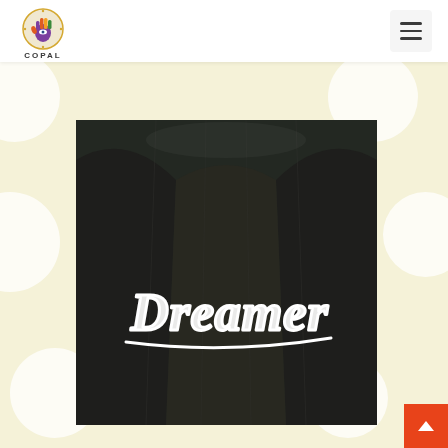COPAL
[Figure (photo): Back of a dark velvet jacket with white cursive embroidery reading 'Dreamer']
[Figure (logo): COPAL logo: colorful hand icon above the text COPAL]